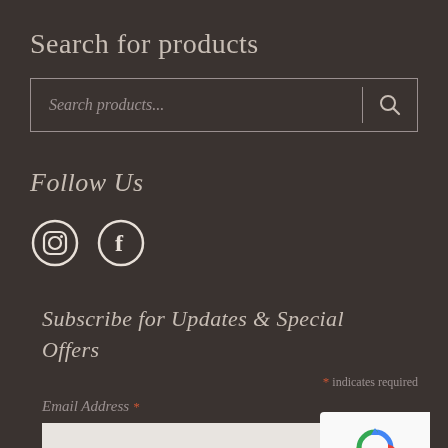Search for products
[Figure (screenshot): Search input box with placeholder text 'Search products...' and a search icon button on the right, separated by a vertical line]
Follow Us
[Figure (illustration): Instagram and Facebook social media icons displayed as white circle outlines on dark background]
Subscribe for Updates & Special Offers
* indicates required
Email Address *
[Figure (screenshot): reCAPTCHA badge with spinning arrows logo and Privacy - Terms text]